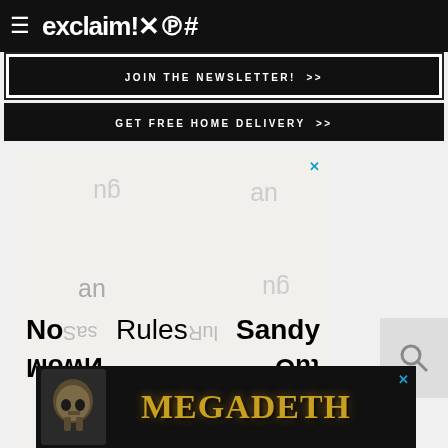exclaim!×℗#
JOIN THE NEWSLETTER! >>
GET FREE HOME DELIVERY >>
[Figure (advertisement): Advertisement with mirrored and rotated text fragments: 'gu', 'an', 'an', 'gu', then main words 'No', 'Rules', 'Sandy', 'Mow', 'N', 'Out' in various orientations. Close button X in upper right.]
[Figure (advertisement): Megadeth band advertisement with skull image on left, stylized golden Megadeth text, and X close button in upper right corner.]